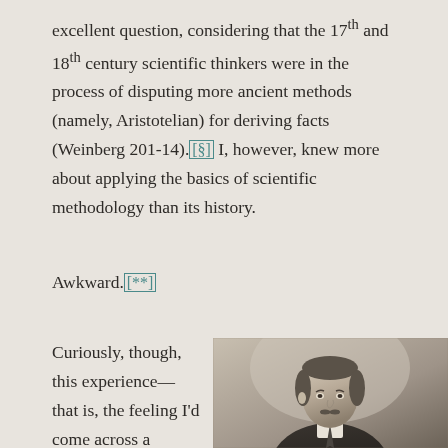excellent question, considering that the 17th and 18th century scientific thinkers were in the process of disputing more ancient methods (namely, Aristotelian) for deriving facts (Weinberg 201-14).[§] I, however, knew more about applying the basics of scientific methodology than its history.
Awkward.[**]
Curiously, though, this experience—that is, the feeling I'd come across a familiar
[Figure (photo): Black and white portrait photograph of a man in early 20th century formal attire, with a mustache, looking directly at the camera.]